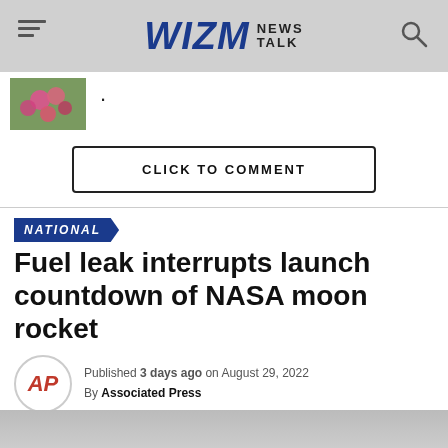WIZM NEWS TALK
[Figure (photo): Thumbnail of a previous article showing pink flowers]
CLICK TO COMMENT
NATIONAL
Fuel leak interrupts launch countdown of NASA moon rocket
Published 3 days ago on August 29, 2022
By Associated Press